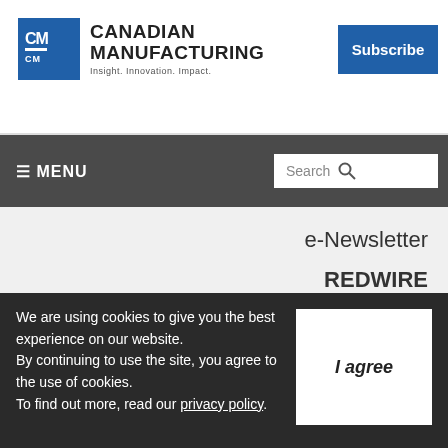[Figure (logo): Canadian Manufacturing logo with blue CM box and text 'CANADIAN MANUFACTURING - Insight. Innovation. Impact.']
Subscribe
≡ MENU
Search
e-Newsletter
REDWIRE
Webinars
Virtual Events
Social
We are using cookies to give you the best experience on our website.
By continuing to use the site, you agree to the use of cookies.
To find out more, read our privacy policy.
I agree